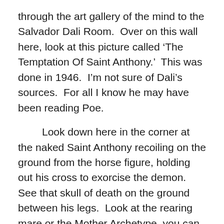through the art gallery of the mind to the Salvador Dali Room.  Over on this wall here, look at this picture called 'The Temptation Of Saint Anthony.'  This was done in 1946.  I'm not sure of Dali's sources.  For all I know he may have been reading Poe.
Look down here in the corner at the naked Saint Anthony recoiling on the ground from the horse figure, holding out his cross to exorcise the demon.  See that skull of death on the ground between his legs.  Look at the rearing mare or the Mother Archetype, you can tell it's a mare, look back between the legs, look at those horse shoes all askew on those enormous front feet.  See those teeth showing between the parted lips, look on these baleful eyes.  What could be more clear?
Then see, coming behind the Mare are the pack